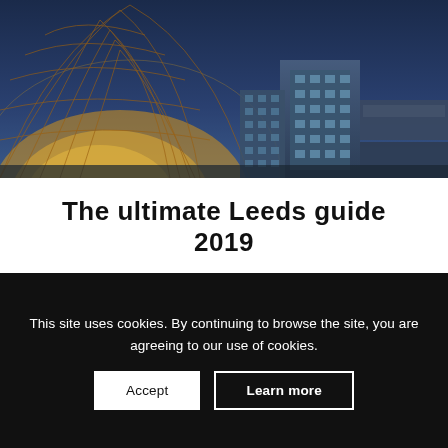[Figure (photo): Aerial view of Leeds city centre at dusk showing a large glass dome structure and surrounding buildings with blue/golden tones]
The ultimate Leeds guide 2019
March 21, 2019
This site uses cookies. By continuing to browse the site, you are agreeing to our use of cookies.